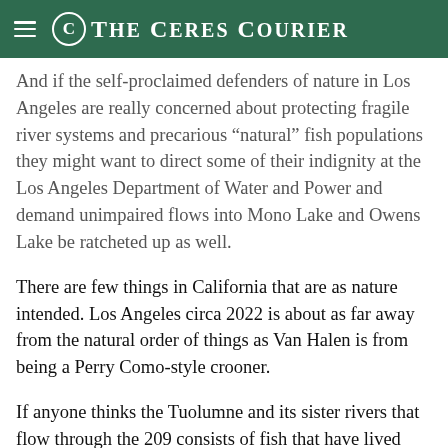The Ceres Courier
And if the self-proclaimed defenders of nature in Los Angeles are really concerned about protecting fragile river systems and precarious “natural” fish populations they might want to direct some of their indignity at the Los Angeles Department of Water and Power and demand unimpaired flows into Mono Lake and Owens Lake be ratcheted up as well.
There are few things in California that are as nature intended. Los Angeles circa 2022 is about as far away from the natural order of things as Van Halen is from being a Perry Como-style crooner.
If anyone thinks the Tuolumne and its sister rivers that flow through the 209 consists of fish that have lived 100 percent as intended by nature with no help from hatcheries they also probably think Mother Nature laid down concrete for steelhead to spawn in centuries ago on the Los Angeles River.
California is about it is next but it is...